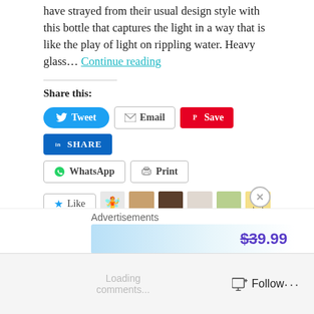have strayed from their usual design style with this bottle that captures the light in a way that is like the play of light on rippling water. Heavy glass… Continue reading
Share this:
[Figure (screenshot): Social share buttons: Tweet (Twitter), Email, Save (Pinterest), SHARE (LinkedIn), WhatsApp, Print]
[Figure (screenshot): Like button with star icon, followed by 6 blogger avatars]
6 bloggers like this.
Tagged Eau de Toilette, fragrance, Ghost Dream, Ghost Perfume, Malaika Firth, Parfum, Perfume, Scent
Leave a comment
Advertisements
[Figure (screenshot): Advertisement banner showing $39.99 price]
Follow   ...